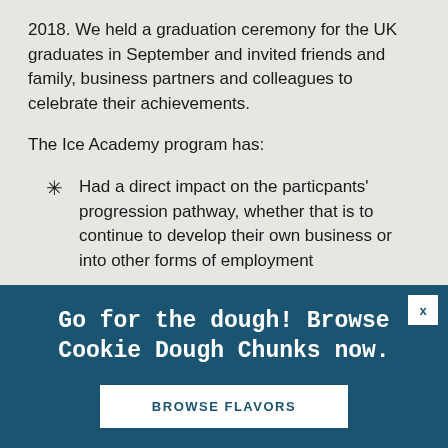2018. We held a graduation ceremony for the UK graduates in September and invited friends and family, business partners and colleagues to celebrate their achievements.
The Ice Academy program has:
Had a direct impact on the particpants' progression pathway, whether that is to continue to develop their own business or into other forms of employment
Unlocked new commercial opportunities and partnerships – key to ensuring the sustainability of the program
Go for the dough! Browse Cookie Dough Chunks now.
BROWSE FLAVORS